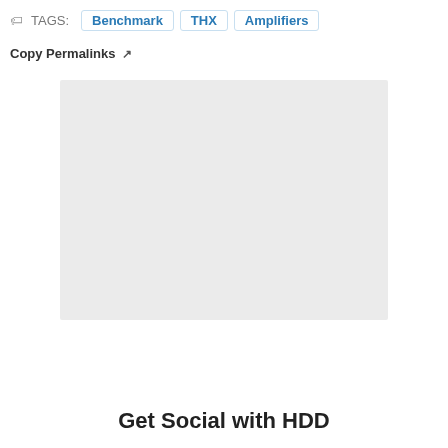TAGS: Benchmark  THX  Amplifiers
Copy Permalinks ↗
[Figure (other): Light gray rectangular image placeholder area]
Get Social with HDD